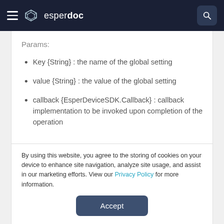esper doc
Params:
Key {String} : the name of the global setting
value {String} : the value of the global setting
callback {EsperDeviceSDK.Callback} : callback implementation to be invoked upon completion of the operation
By using this website, you agree to the storing of cookies on your device to enhance site navigation, analyze site usage, and assist in our marketing efforts. View our Privacy Policy for more information.